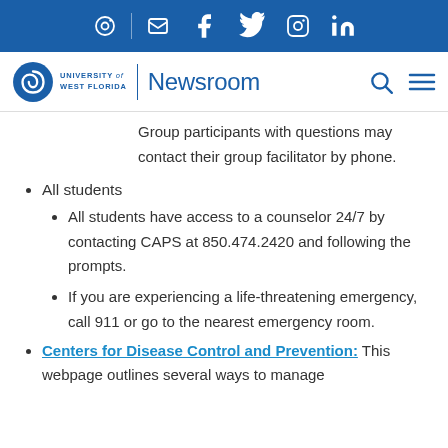University of West Florida Newsroom — social icons header bar
Group participants with questions may contact their group facilitator by phone.
All students
All students have access to a counselor 24/7 by contacting CAPS at 850.474.2420 and following the prompts.
If you are experiencing a life-threatening emergency, call 911 or go to the nearest emergency room.
Centers for Disease Control and Prevention: This webpage outlines several ways to manage